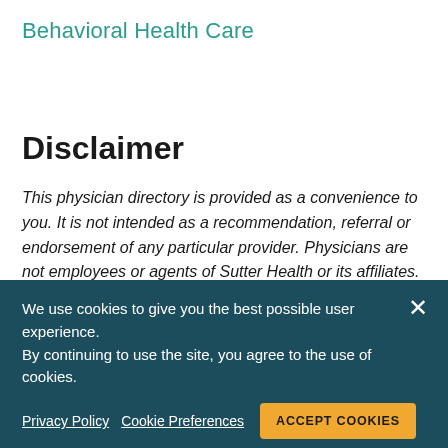Behavioral Health Care
Disclaimer
This physician directory is provided as a convenience to you. It is not intended as a recommendation, referral or endorsement of any particular provider. Physicians are not employees or agents of Sutter Health or its affiliates. The information is submitted by each doctor and we make no guarantee or warranty as to the accuracy of the information. Sutter Health is not responsible for any loss
We use cookies to give you the best possible user experience. By continuing to use the site, you agree to the use of cookies.
Privacy Policy   Cookie Preferences   ACCEPT COOKIES